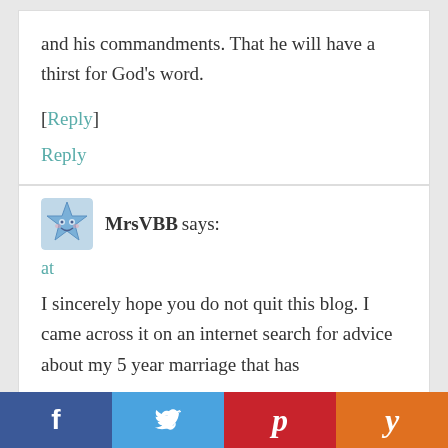and his commandments. That he will have a thirst for God's word.
[Reply]
Reply
MrsVBB says:
at
I sincerely hope you do not quit this blog. I came across it on an internet search for advice about my 5 year marriage that has